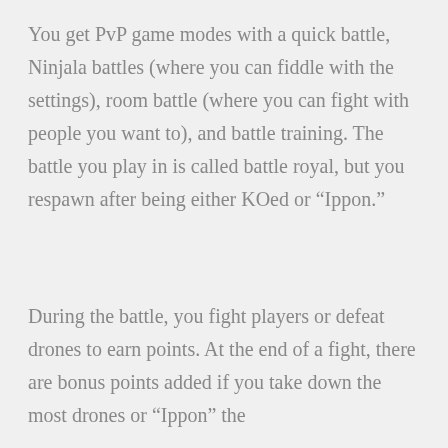You get PvP game modes with a quick battle, Ninjala battles (where you can fiddle with the settings), room battle (where you can fight with people you want to), and battle training. The battle you play in is called battle royal, but you respawn after being either KOed or “Ippon.”
During the battle, you fight players or defeat drones to earn points. At the end of a fight, there are bonus points added if you take down the most drones or “Ippon” the